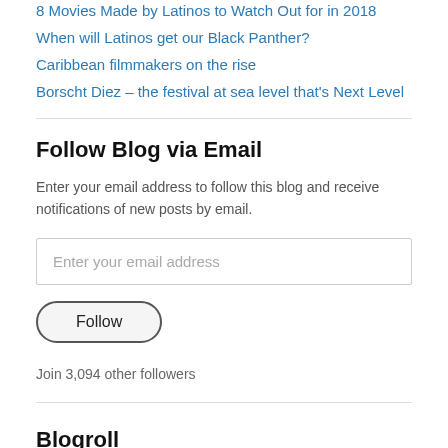8 Movies Made by Latinos to Watch Out for in 2018
When will Latinos get our Black Panther?
Caribbean filmmakers on the rise
Borscht Diez – the festival at sea level that's Next Level
Follow Blog via Email
Enter your email address to follow this blog and receive notifications of new posts by email.
Enter your email address
Follow
Join 3,094 other followers
Blogroll
Ambulante